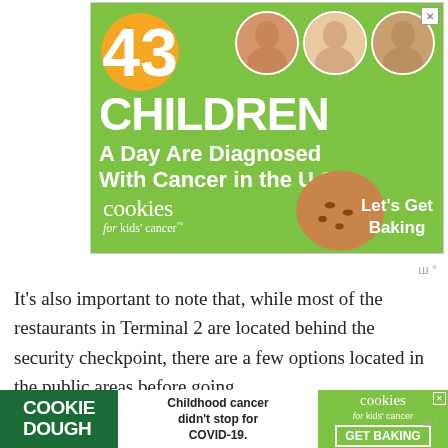[Figure (illustration): Green advertisement banner for 'Cookies for Kids' Cancer'. Shows '43 CHILDREN A Day Are Diagnosed With Cancer in the U.S.' with photos of three children and a cookie illustration. Tagline: 'Let's Get Baking'.]
It's also important to note that, while most of the restaurants in Terminal 2 are located behind the security checkpoint, there are a few options located in the public areas before going thro... Term...
[Figure (illustration): Bottom banner ad: 'COOKIE DOUGH' on left in green, 'Childhood cancer didn't stop for COVID-19.' in center, 'cookies for kids cancer GET BAKING' on right.]